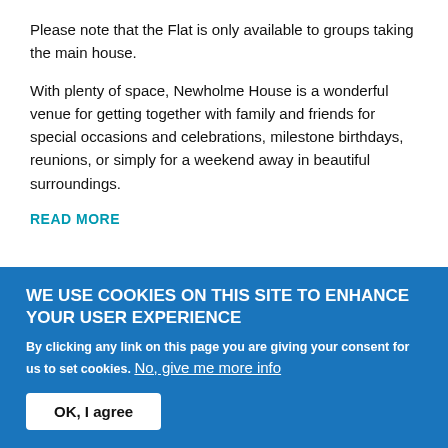Please note that the Flat is only available to groups taking the main house.
With plenty of space, Newholme House is a wonderful venue for getting together with family and friends for special occasions and celebrations, milestone birthdays, reunions, or simply for a weekend away in beautiful surroundings.
READ MORE
WE USE COOKIES ON THIS SITE TO ENHANCE YOUR USER EXPERIENCE
By clicking any link on this page you are giving your consent for us to set cookies. No, give me more info
OK, I agree